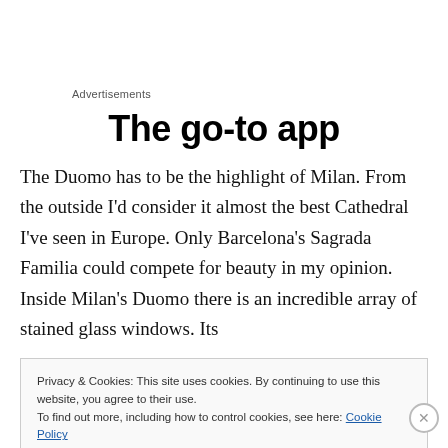Advertisements
The go-to app
The Duomo has to be the highlight of Milan. From the outside I'd consider it almost the best Cathedral I've seen in Europe. Only Barcelona's Sagrada Familia could compete for beauty in my opinion. Inside Milan's Duomo there is an incredible array of stained glass windows. Its
Privacy & Cookies: This site uses cookies. By continuing to use this website, you agree to their use.
To find out more, including how to control cookies, see here: Cookie Policy